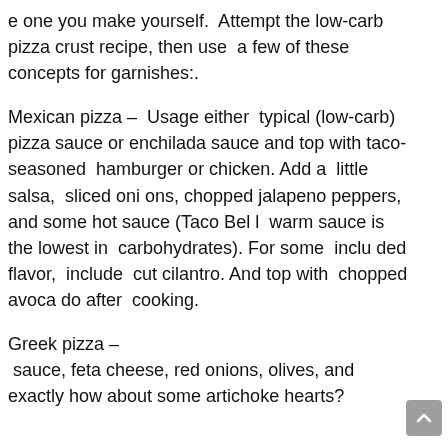e one you make yourself.  Attempt the low-carb pizza crust recipe, then use  a few of these  concepts for garnishes:.
Mexican pizza –  Usage either  typical (low-carb) pizza sauce or enchilada sauce and top with taco-seasoned  hamburger or chicken. Add a  little salsa,  sliced onions, chopped jalapeno peppers, and some hot sauce (Taco Bell  warm sauce is the lowest in  carbohydrates). For some  included flavor,  include  cut cilantro. And top with  chopped avocado after  cooking.
Greek pizza – sauce, feta cheese, red onions, olives, and  exactly how about some artichoke hearts?